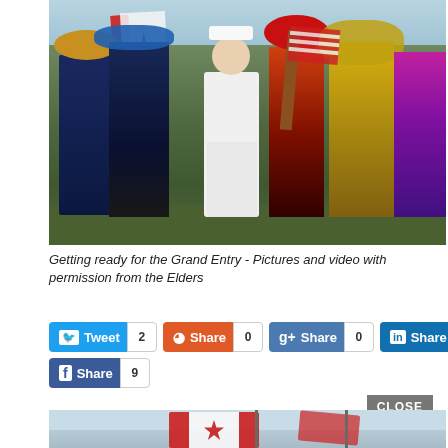[Figure (photo): Crowd of Indigenous people in traditional regalia with feathered headdresses and colorful regalia, some carrying Canadian and American flags, getting ready for a Grand Entry ceremony at a powwow. A man in white shirt and shorts stands among them.]
Getting ready for the Grand Entry - Pictures and video with permission from the Elders
Tweet 2 | Share 0 | Share 0 | Share 1 | Share 9
[Figure (photo): Partial view of a second photo showing Canadian flags being carried, sky background visible at top of page.]